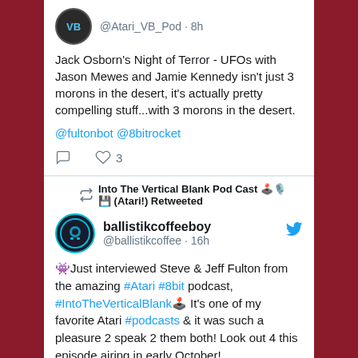[Figure (screenshot): Twitter/social media feed screenshot showing two tweets on a white panel with dark red side borders.]
@Atari_VB_Pod · 8h
Jack Osborn's Night of Terror - UFOs with Jason Mewes and Jamie Kennedy isn't just 3 morons in the desert, it's actually pretty compelling stuff...with 3 morons in the desert. @fultonbot @8bitrocket
Into The Vertical Blank Pod Cast 🕹️🎙️ 💾 (Atari!) Retweeted
ballistikcoffeeboy @ballistikcoffee · 16h
👾Just interviewed Steve & Jeff Fulton from the amazing #Atari #8bit podcast, #IntoTheVerticalBlank🕹️ It's one of my favorite Atari #podcasts & it was such a pleasure 2 speak 2 them both! Look out 4 this episode airing in early October! #vintagegaming #retrotgaming #ThatAtariShow